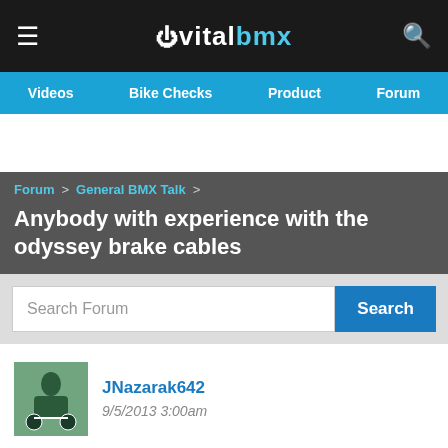vitalbmx
Videos  Bike Checks  Product  Forum
Anybody with experience with the odyssey brake cables
Forum > General BMX Talk >
Search Forum
JNazarak642
9/5/2013 3:00am
That are all one no adjuster think back by the back wheel??